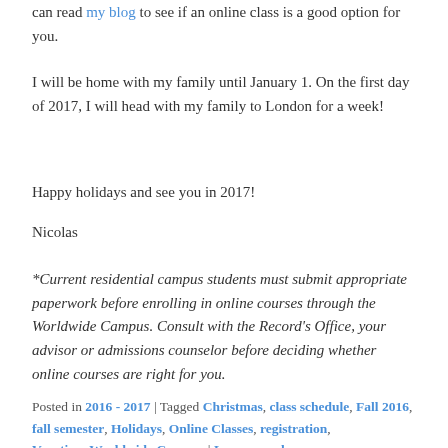can read my blog to see if an online class is a good option for you.
I will be home with my family until January 1. On the first day of 2017, I will head with my family to London for a week!
Happy holidays and see you in 2017!
Nicolas
*Current residential campus students must submit appropriate paperwork before enrolling in online courses through the Worldwide Campus. Consult with the Record's Office, your advisor or admissions counselor before deciding whether online courses are right for you.
Posted in 2016 - 2017 | Tagged Christmas, class schedule, Fall 2016, fall semester, Holidays, Online Classes, registration, Vacation, Worldwide Campus | Leave a reply